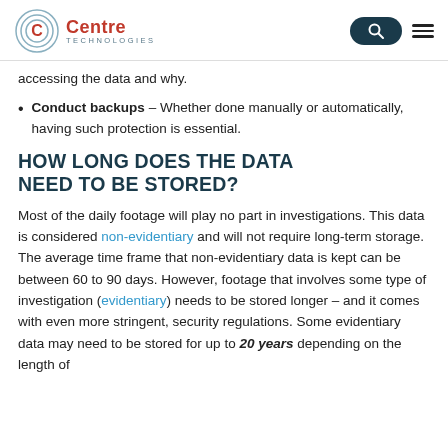Centre Technologies
accessing the data and why.
Conduct backups – Whether done manually or automatically, having such protection is essential.
HOW LONG DOES THE DATA NEED TO BE STORED?
Most of the daily footage will play no part in investigations. This data is considered non-evidentiary and will not require long-term storage. The average time frame that non-evidentiary data is kept can be between 60 to 90 days. However, footage that involves some type of investigation (evidentiary) needs to be stored longer – and it comes with even more stringent, security regulations. Some evidentiary data may need to be stored for up to 20 years depending on the length of